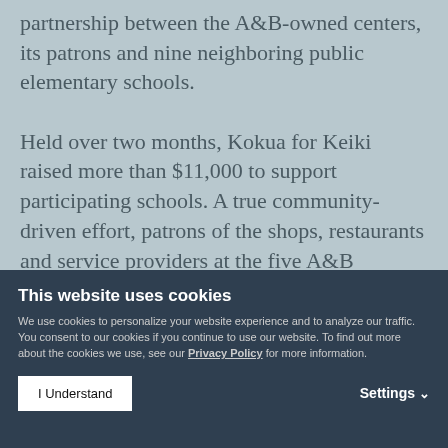partnership between the A&B-owned centers, its patrons and nine neighboring public elementary schools.
Held over two months, Kokua for Keiki raised more than $11,000 to support participating schools. A true community-driven effort, patrons of the shops, restaurants and service providers at the five A&B shopping centers registered and designated the school of their choice online and then submitted shopping receipts throughout
This website uses cookies
We use cookies to personalize your website experience and to analyze our traffic. You consent to our cookies if you continue to use our website. To find out more about the cookies we use, see our Privacy Policy for more information.
I Understand
Settings